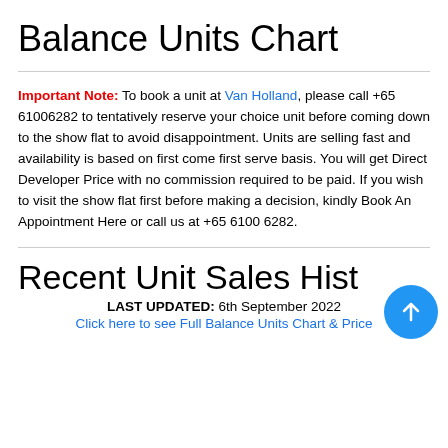Balance Units Chart
Important Note: To book a unit at Van Holland, please call +65 61006282 to tentatively reserve your choice unit before coming down to the show flat to avoid disappointment. Units are selling fast and availability is based on first come first serve basis. You will get Direct Developer Price with no commission required to be paid. If you wish to visit the show flat first before making a decision, kindly Book An Appointment Here or call us at +65 6100 6282.
Recent Unit Sales History
LAST UPDATED: 6th September 2022
Click here to see Full Balance Units Chart & Price